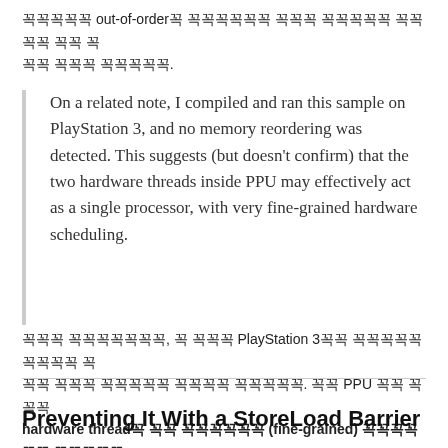꼭꼭꼭꼭꼭 out-of-order꼭 꼭꼭꼭꼭꼭 꼭꼭꼭 꼭꼭꼭꼭꼭 꼭꼭꼭꼭 꼭꼭 꼭 꼭꼭 꼭꼭꼭 꼭꼭꼭꼭꼭.
On a related note, I compiled and ran this sample on PlayStation 3, and no memory reordering was detected. This suggests (but doesn't confirm) that the two hardware threads inside PPU may effectively act as a single processor, with very fine-grained hardware scheduling.
꼭꼭꼭 꼭꼭꼭꼭꼭꼭꼭, 꼭 꼭꼭꼭 PlayStation 3꼭꼭 꼭꼭꼭꼭꼭 꼭꼭꼭꼭 꼭꼭 꼭꼭꼭 꼭꼭꼭꼭꼭 꼭꼭꼭꼭 꼭꼭꼭꼭꼭. 꼭꼭 PPU 꼭꼭 꼭 꼭꼭 hardware thread꼭 꼭꼭 꼭꼭꼭꼭꼭꼭 (fine-grained) 꼭꼭꼭꼭꼭 꼭꼭꼭꼭 꼭 꼭꼭 꼭꼭 꼭꼭꼭꼭꼭꼭꼭꼭 꼭꼭꼭꼭꼭 꼭 꼭꼭꼭꼭 꼭꼭꼭꼭꼭, 꼭꼭꼭꼭 꼭꼭꼭꼭꼭꼭꼭꼭 꼭.
Preventing It With a StoreLoad Barrier